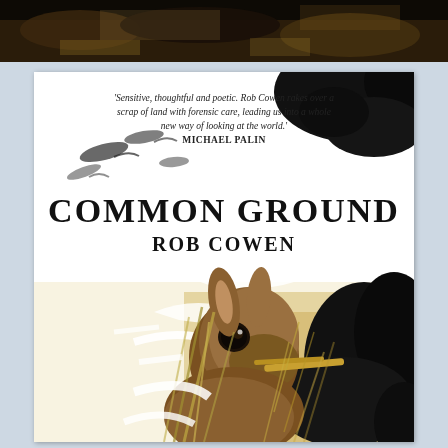[Figure (photo): Partial view of a dark nature/landscape photo strip at the top of the page, above the book cover]
[Figure (illustration): Book cover of 'Common Ground' by Rob Cowen. Features a stylized high-contrast illustration of a hare in grasses with black ink-blot style markings. White background with dramatic black and golden-brown tones. Contains blurb quote from Michael Palin and the book title and author name.]
'Sensitive, thoughtful and poetic. Rob Cowen rakes over a scrap of land with forensic care, leading us into a whole new way of looking at the world.' MICHAEL PALIN
COMMON GROUND
ROB COWEN